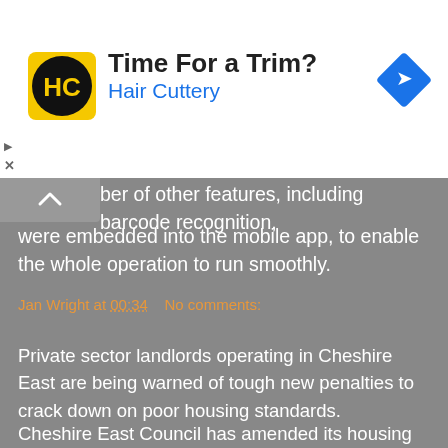[Figure (other): Hair Cuttery advertisement banner with logo showing HC initials in a circle with black background, text 'Time For a Trim?' in dark, 'Hair Cuttery' in blue, and a blue diamond-shaped navigation icon on the right. Close/skip ad buttons on left side.]
ber of other features, including barcode recognition, were embedded into the mobile app, to enable the whole operation to run smoothly.
Jan Wright at 00:34    No comments:
New powers to tackle rogue landlords unveiled
Private sector landlords operating in Cheshire East are being warned of tough new penalties to crack down on poor housing standards.
Cheshire East Council has amended its housing enforcement policy to include new powers, which could see